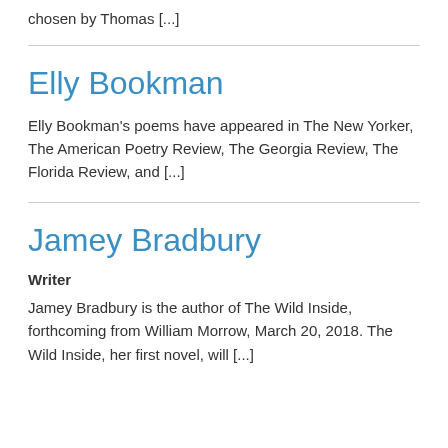chosen by Thomas [...]
Elly Bookman
Elly Bookman's poems have appeared in The New Yorker, The American Poetry Review, The Georgia Review, The Florida Review, and [...]
Jamey Bradbury
Writer
Jamey Bradbury is the author of The Wild Inside, forthcoming from William Morrow, March 20, 2018. The Wild Inside, her first novel, will [...]